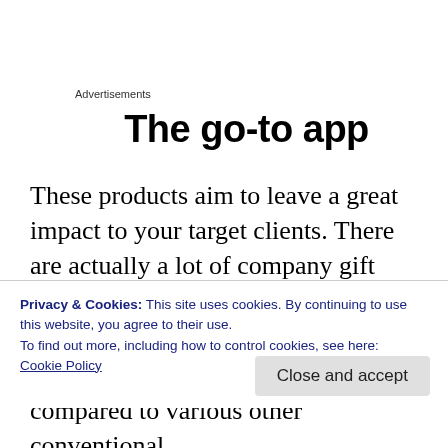Advertisements
The go-to app
These products aim to leave a great impact to your target clients. There are actually a lot of company gift products that you can pick from. You just have to ensure that the thing you have chosen is capable of advising the public of the
Privacy & Cookies: This site uses cookies. By continuing to use this website, you agree to their use.
To find out more, including how to control cookies, see here:
Cookie Policy
Close and accept
compared to various other conventional